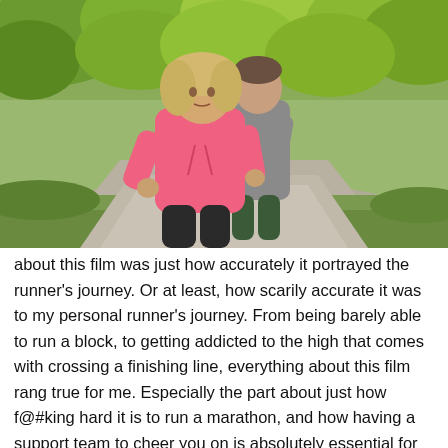[Figure (photo): Two people jogging outdoors in a park. A woman in a pink hoodie is in the foreground looking strained, and a man in a gray shirt is slightly behind her. Green trees and a path are visible in the background.]
about this film was just how accurately it portrayed the runner's journey. Or at least, how scarily accurate it was to my personal runner's journey. From being barely able to run a block, to getting addicted to the high that comes with crossing a finishing line, everything about this film rang true for me. Especially the part about just how f@#king hard it is to run a marathon, and how having a support team to cheer you on is absolutely essential for